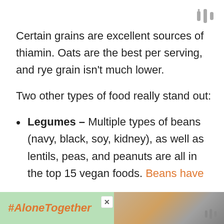[Figure (logo): Three vertical bars logo mark in gray, top right corner]
Certain grains are excellent sources of thiamin. Oats are the best per serving, and rye grain isn't much lower.
Two other types of food really stand out:
Legumes – Multiple types of beans (navy, black, soy, kidney), as well as lentils, peas, and peanuts are all in the top 15 vegan foods. Beans have
[Figure (photo): Advertisement banner with green background showing #AloneTogether text in orange italic, a photo of a man and child, a close button, and a logo]